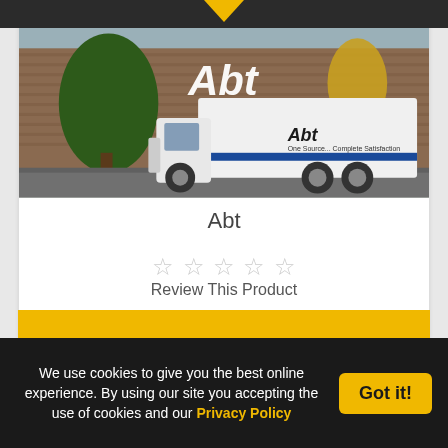[Figure (photo): Abt delivery truck parked in front of an Abt store building with trees in background]
Abt
[Figure (other): Five empty star rating icons for Review This Product]
Review This Product
We use cookies to give you the best online experience. By using our site you accepting the use of cookies and our Privacy Policy